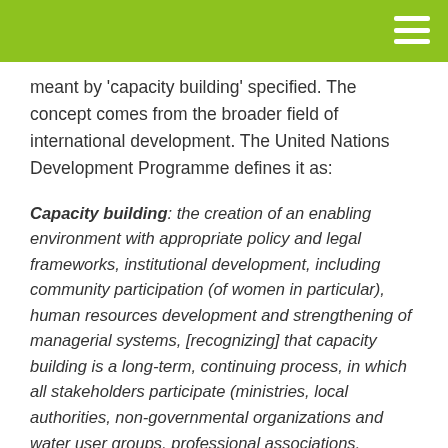meant by 'capacity building' specified. The concept comes from the broader field of international development. The United Nations Development Programme defines it as:
Capacity building: the creation of an enabling environment with appropriate policy and legal frameworks, institutional development, including community participation (of women in particular), human resources development and strengthening of managerial systems, [recognizing] that capacity building is a long-term, continuing process, in which all stakeholders participate (ministries, local authorities, non-governmental organizations and water user groups, professional associations, academics and others).
But, even here we are left with only a vague concept that relates to community, human capital and institution-